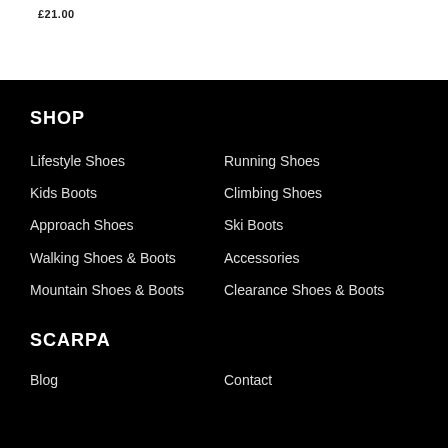£21.00
SHOP
Lifestyle Shoes
Running Shoes
Kids Boots
Climbing Shoes
Approach Shoes
Ski Boots
Walking Shoes & Boots
Accessories
Mountain Shoes & Boots
Clearance Shoes & Boots
SCARPA
Blog
Contact